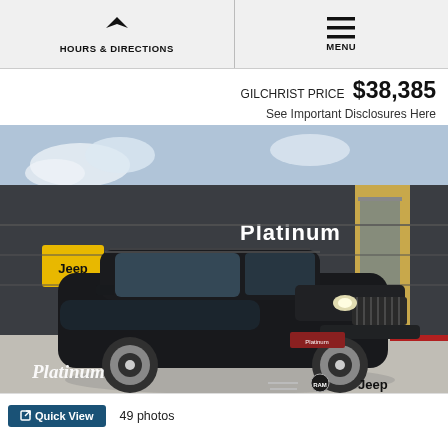HOURS & DIRECTIONS | MENU
GILCHRIST PRICE $38,385
See Important Disclosures Here
[Figure (photo): Black Jeep Cherokee SUV parked in front of Platinum Jeep dealership building. The dealership has a dark facade with 'Platinum' signage and a yellow accent. Jeep logo visible on the left side. Platinum logo watermark with RAM and Jeep branding at the bottom of the photo.]
Quick View   49 photos